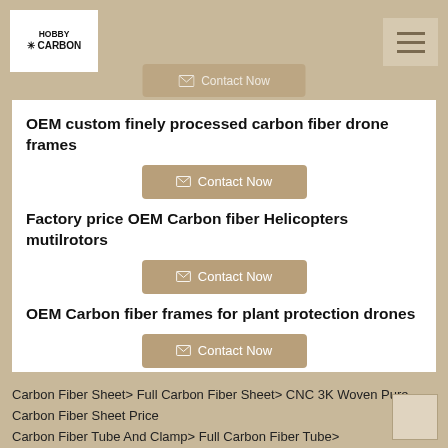Hobby Carbon - website header with logo and navigation
OEM custom finely processed carbon fiber drone frames
Contact Now
Factory price OEM Carbon fiber Helicopters mutilrotors
Contact Now
OEM Carbon fiber frames for plant protection drones
Contact Now
Carbon Fiber Sheet> Full Carbon Fiber Sheet> CNC 3K Woven Pure Carbon Fiber Sheet Price
Carbon Fiber Tube And Clamp> Full Carbon Fiber Tube>